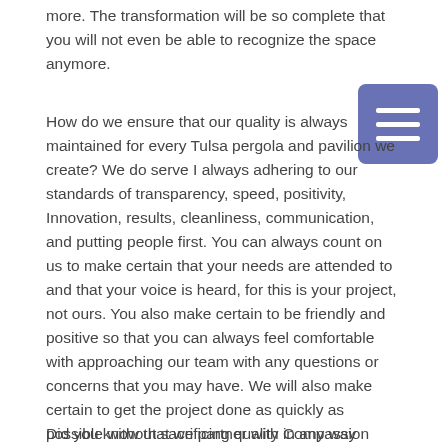more. The transformation will be so complete that you will not even be able to recognize the space anymore.
How do we ensure that our quality is always maintained for every Tulsa pergola and pavilion we create? We do serve I always adhering to our standards of transparency, speed, positivity, Innovation, results, cleanliness, communication, and putting people first. You can always count on us to make certain that your needs are attended to and that your voice is heard, for this is your project, not ours. You also make certain to be friendly and positive so that you can always feel comfortable with approaching our team with any questions or concerns that you may have. We will also make certain to get the project done as quickly as possible without sacrificing quality in any way shape or form.
[Figure (other): Blue square button with three horizontal white lines (hamburger/menu icon)]
Did you know that we partner with Compassion